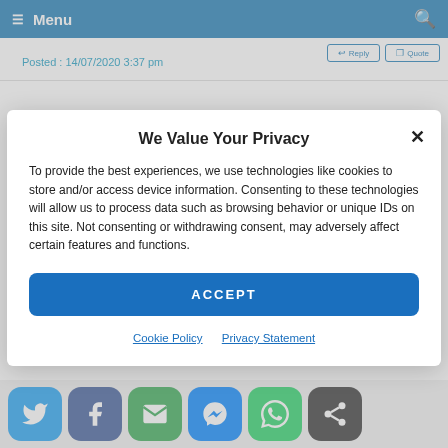Menu
Posted : 14/07/2020 3:37 pm
We Value Your Privacy
To provide the best experiences, we use technologies like cookies to store and/or access device information. Consenting to these technologies will allow us to process data such as browsing behavior or unique IDs on this site. Not consenting or withdrawing consent, may adversely affect certain features and functions.
ACCEPT
Cookie Policy   Privacy Statement
Forum Search
[Figure (infographic): Row of six social media share buttons: Twitter (sky blue), Facebook (dark blue), Email (green), Messenger (blue), WhatsApp (green), Share (dark gray)]